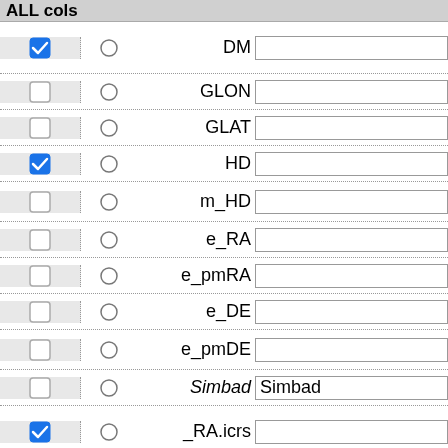| Select | Radio | Field | Value |
| --- | --- | --- | --- |
| checked |  | DM |  |
| unchecked |  | GLON |  |
| unchecked |  | GLAT |  |
| checked |  | HD |  |
| unchecked |  | m_HD |  |
| unchecked |  | e_RA |  |
| unchecked |  | e_pmRA |  |
| unchecked |  | e_DE |  |
| unchecked |  | e_pmDE |  |
| unchecked |  | Simbad | Simbad |
| checked |  | _RA.icrs |  |
| checked |  | DE.icrs |  |